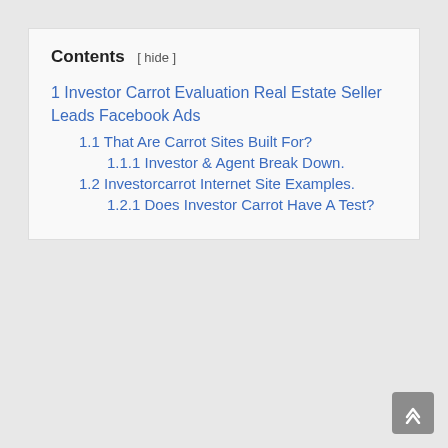Contents [ hide ]
1 Investor Carrot Evaluation Real Estate Seller Leads Facebook Ads
1.1 That Are Carrot Sites Built For?
1.1.1 Investor & Agent Break Down.
1.2 Investorcarrot Internet Site Examples.
1.2.1 Does Investor Carrot Have A Test?